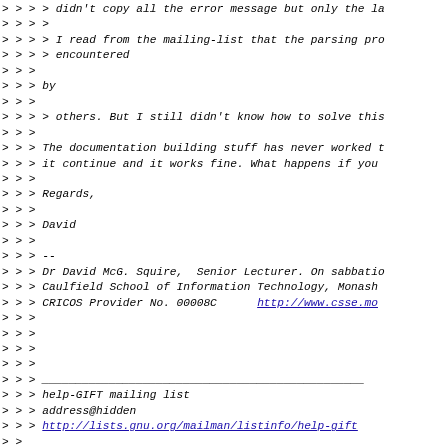> > > > didn't copy all the error message but only the la
> > > >
> > > > I read from the mailing-list that the parsing pro
> > > > encountered
> > >
> > > by
> > >
> > > > others. But I still didn't know how to solve this
> > >
> > > The documentation building stuff has never worked t
> > > it continue and it works fine. What happens if you
> > >
> > > Regards,
> > >
> > > David
> > >
> > > --
> > > Dr David McG. Squire,  Senior Lecturer. On sabbati
> > > Caulfield School of Information Technology, Monash
> > > CRICOS Provider No. 00008C      http://www.csse.mo
> > >
> > >
> > >
> > >
> > > ________________________________________________
> > > help-GIFT mailing list
> > > address@hidden
> > > http://lists.gnu.org/mailman/listinfo/help-gift
> >
> >
> > ------------------------------------------------------------
> > This message was sent using IMP, the Internet Messag